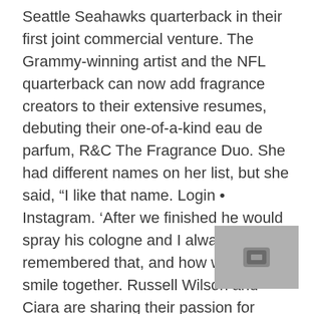Seattle Seahawks quarterback in their first joint commercial venture. The Grammy-winning artist and the NFL quarterback can now add fragrance creators to their extensive resumes, debuting their one-of-a-kind eau de parfum, R&C The Fragrance Duo. She had different names on her list, but she said, “I like that name. Login • Instagram. ‘After we finished he would spray his cologne and I always remembered that, and how we used to smile together. Russell Wilson and Ciara are sharing their passion for fragrance by introducing R&C The Fragrance Duo, marking their first creation of an eau de parfum together, inspiring a belief that togetherness is the key to happiness. The couple just launched their first joint business, R&C The Fragrance Duo, which is a his-and-hers Eau de Parfum line that reflects the love between the two. Every product is independently selected by our editors. Why a virtual wedding is the way to go, pandemic or no, on this week’s episode of, Kidding, but
[Figure (other): Gray overlay rectangle with a small darker gray icon/button in the center, partially obscuring the text in the lower right area of the page.]